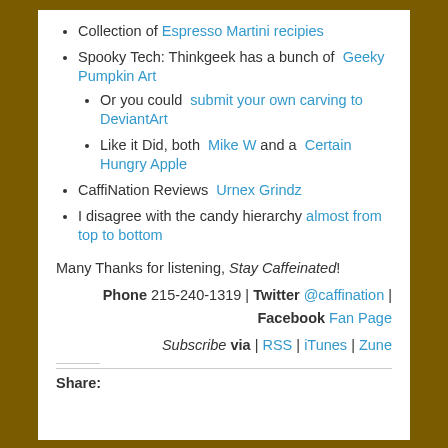Collection of Espresso Martini recipies
Spooky Tech: Thinkgeek has a bunch of Geeky Pumpkin Art
Or you could submit your own carving to DeviantArt
Like it Did, both Mike W and a Certain Hungry Apple
CaffiNation Reviews Urnex Grindz
I disagree with the candy hierarchy almost from top to bottom
Many Thanks for listening, Stay Caffeinated!
Phone 215-240-1319 | Twitter @caffination | Facebook Fan Page
Subscribe via | RSS | iTunes | Zune
Share: